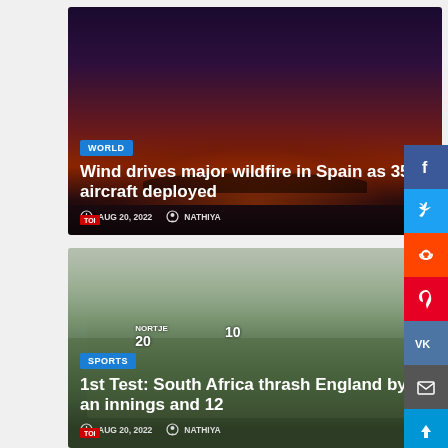[Figure (photo): Wildfire news card with dark smoky sky background, red glow from fire below]
WORLD
Wind drives major wildfire in Spain as 35 aircraft deployed
AUG 20, 2022   NATHIYA
[Figure (photo): Cricket news card showing South Africa players celebrating with jerseys NORTJE 20 and number 10]
SPORTS
1st Test: South Africa thrash England by an innings and 12
AUG 20, 2022   NATHIYA